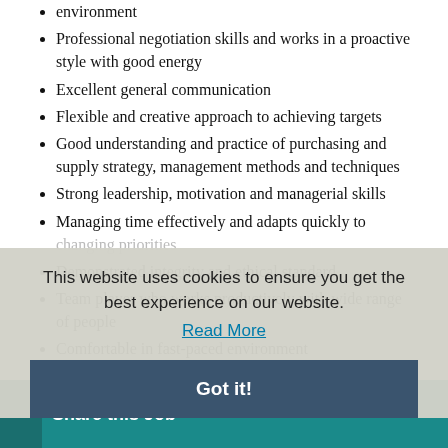environment
Professional negotiation skills and works in a proactive style with good energy
Excellent general communication
Flexible and creative approach to achieving targets
Good understanding and practice of purchasing and supply strategy, management methods and techniques
Strong leadership, motivation and managerial skills
Managing time effectively and adapts quickly to changing priorities
Demonstrated integrity and ethical standard
Team player who works productively with wide range of people
Comfortable in fast-paced environment
This website uses cookies to ensure you get the best experience on our website. Read More
Got it!
Share this Job